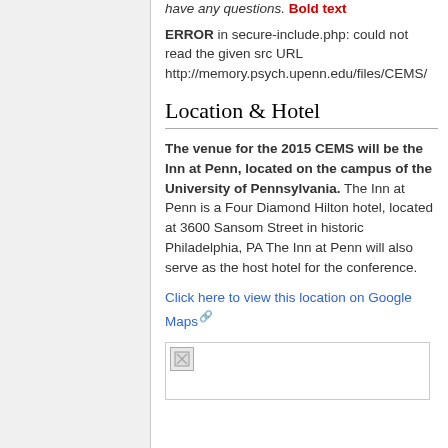have any questions. Bold text
ERROR in secure-include.php: could not read the given src URL http://memory.psych.upenn.edu/files/CEMS/
Location & Hotel
The venue for the 2015 CEMS will be the Inn at Penn, located on the campus of the University of Pennsylvania. The Inn at Penn is a Four Diamond Hilton hotel, located at 3600 Sansom Street in historic Philadelphia, PA The Inn at Penn will also serve as the host hotel for the conference.
Click here to view this location on Google Maps
[Figure (photo): Broken image placeholder for a hotel or location photo]